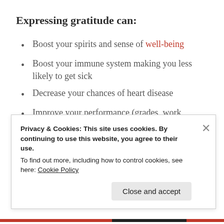Expressing gratitude can:
Boost your spirits and sense of well-being
Boost your immune system making you less likely to get sick
Decrease your chances of heart disease
Improve your performance (grades, work productivity, concentration)
Bust your stress
There are many ways you can make gratitude part of your life. Here are a few recommended in a Harvard
Privacy & Cookies: This site uses cookies. By continuing to use this website, you agree to their use. To find out more, including how to control cookies, see here: Cookie Policy
Close and accept